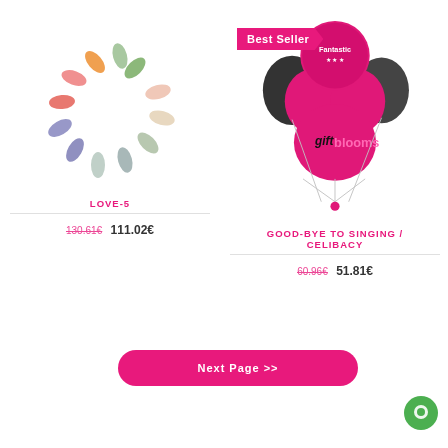[Figure (illustration): Colorful loading spinner / circular dots in multiple colors (green, orange, red/pink, purple, teal, grey/light) — product image placeholder for LOVE-5]
LOVE-5
130.61€  111.02€
[Figure (photo): Bunch of pink and black balloons with 'giftblooms' text, tied with ribbons. A 'Best Seller' banner in the top-right corner of the card.]
GOOD-BYE TO SINGING / CELIBACY
60.96€  51.81€
Next Page >>
[Figure (illustration): Green circular chat/support button in bottom-right corner]